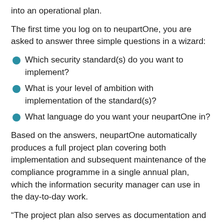into an operational plan.
The first time you log on to neupartOne, you are asked to answer three simple questions in a wizard:
Which security standard(s) do you want to implement?
What is your level of ambition with implementation of the standard(s)?
What language do you want your neupartOne in?
Based on the answers, neupartOne automatically produces a full project plan covering both implementation and subsequent maintenance of the compliance programme in a single annual plan, which the information security manager can use in the day-to-day work.
“The project plan also serves as documentation and can be shown to the head of department, general management, the executive board, business partners, authorities and others who are interested in knowing how the organisation manages its information security. The level of interest will only grow in